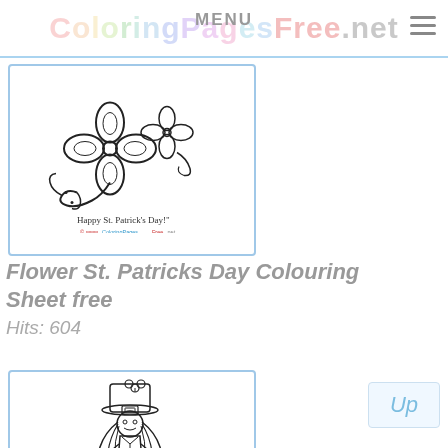ColoringPagesFree.net MENU
[Figure (illustration): Coloring page showing a four-leaf clover flower with decorative swirls and text 'Happy St. Patrick's Day!' with watermark 'www.ColoringPagesFree.net']
Flower St. Patricks Day Colouring Sheet free
Hits: 604
[Figure (illustration): Coloring page showing a girl wearing a leprechaun hat with a shamrock, long hair, and traditional Irish costume]